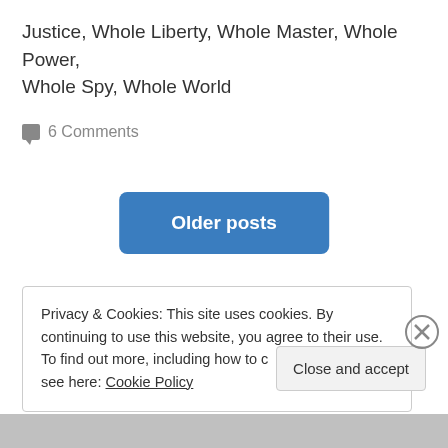Justice, Whole Liberty, Whole Master, Whole Power, Whole Spy, Whole World
6 Comments
Older posts
Privacy & Cookies: This site uses cookies. By continuing to use this website, you agree to their use. To find out more, including how to control cookies, see here: Cookie Policy
Close and accept